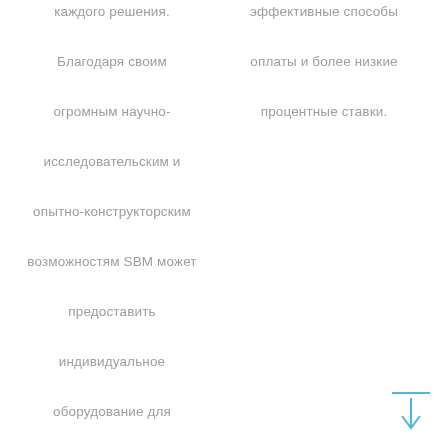каждого решения. Благодаря своим огромным научно-исследовательским и опытно-конструкторским возможностям SBM может предоставить индивидуальное оборудование для удовлетворения особых требований проекта. В SBM мы ценим каждое вложение клиента. Благодаря нашему опыту и ответственности клиент может получить больше от инвестиций
эффективные способы оплаты и более низкие процентные ставки.